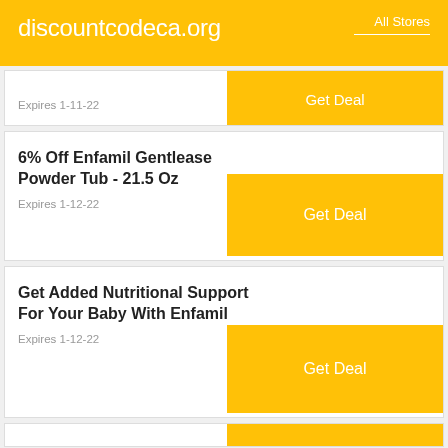discountcodeca.org   All Stores
Expires 1-11-22
Get Deal
6% Off Enfamil Gentlease Powder Tub - 21.5 Oz
Expires 1-12-22
Get Deal
Get Added Nutritional Support For Your Baby With Enfamil
Expires 1-12-22
Get Deal